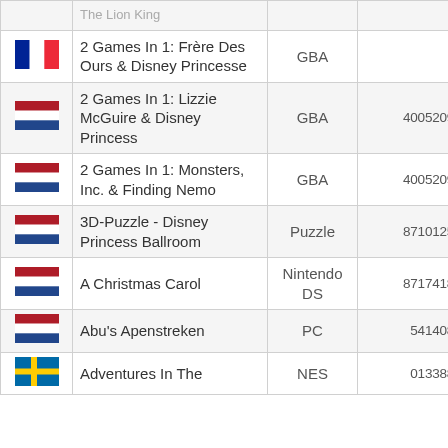| Flag | Name | Platform | Barcode |
| --- | --- | --- | --- |
| [FR] | 2 Games In 1: Frère Des Ours & Disney Princesse | GBA |  |
| [NL] | 2 Games In 1: Lizzie McGuire & Disney Princess | GBA | 4005209060752 |
| [NL] | 2 Games In 1: Monsters, Inc. & Finding Nemo | GBA | 4005209059657 |
| [NL] | 3D-Puzzle - Disney Princess Ballroom | Puzzle | 8710125015040 |
| [NL] | A Christmas Carol | Nintendo DS | 8717418232030 |
| [NL] | Abu's Apenstreken | PC | 541408300811 |
| [SE] | Adventures In The ... | NES | 013388110186 |